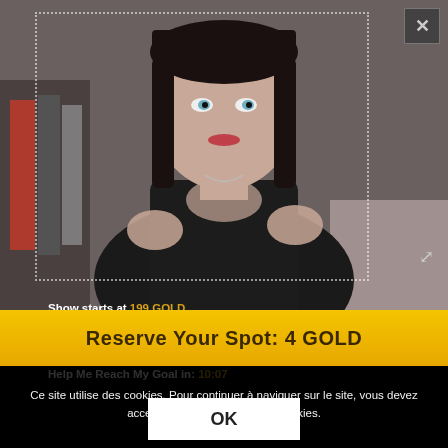[Figure (screenshot): Video stream screenshot of a woman with dark hair wearing a black outfit, in a room with clothes hanging in background. Overlaid with dotted white border rectangle, a close (X) button top-right, gold count info and timer at bottom-left, and fullscreen icon bottom-right.]
Show starts at 199 GOLD
4 GOLD
Help Me Reach My Goal in: 10:07
Reserve Your Spot: 4 GOLD
Ce site utilise des cookies. Pour continuer à naviguer sur le site, vous devez acceptez notre utilisation des cookies.
OK